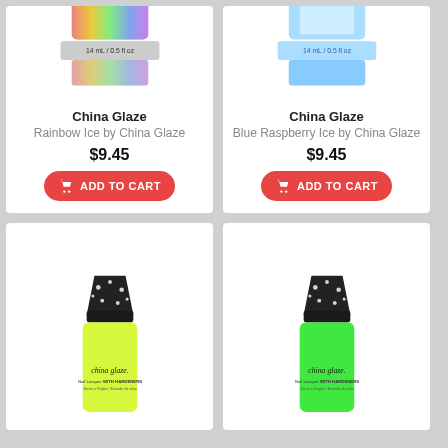[Figure (photo): Top portion of a China Glaze nail polish bottle with rainbow/glitter cap showing '14 mL / 0.5 fl oz' label]
China Glaze
Rainbow Ice by China Glaze
$9.45
ADD TO CART
[Figure (photo): Top portion of a China Glaze nail polish bottle with blue/clear cap showing '14 mL / 0.5 fl oz' label]
China Glaze
Blue Raspberry Ice by China Glaze
$9.45
ADD TO CART
[Figure (photo): China Glaze nail lacquer bottle with black polka-dot cap and yellow-green nail polish, 'china glaze.' branding visible]
[Figure (photo): China Glaze nail lacquer bottle with black polka-dot cap and bright green nail polish, 'china glaze.' branding visible]